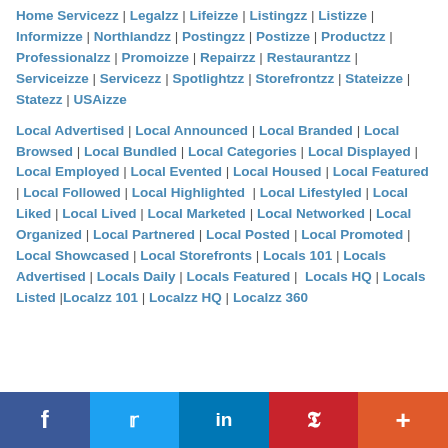Home Servicezz | Legalzz | Lifeizze | Listingzz | Listizze | Informizze | Northlandzz | Postingzz | Postizze | Productzz | Professionalzz | Promoizze | Repairzz | Restaurantzz | Serviceizze | Servicezz | Spotlightzz | Storefrontzz | Stateizze | Statezz | USAizze
Local Advertised | Local Announced | Local Branded | Local Browsed | Local Bundled | Local Categories | Local Displayed | Local Employed | Local Evented | Local Housed | Local Featured | Local Followed | Local Highlighted | Local Lifestyled | Local Liked | Local Lived | Local Marketed | Local Networked | Local Organized | Local Partnered | Local Posted | Local Promoted | Local Showcased | Local Storefronts | Locals 101 | Locals Advertised | Locals Daily | Locals Featured | Locals HQ | Locals Listed | Localzz 101 | Localzz HQ | Localzz 360